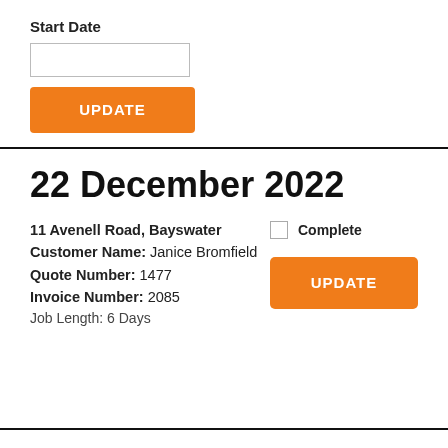Start Date
[date input field]
UPDATE
22 December 2022
11 Avenell Road, Bayswater
Customer Name: Janice Bromfield
Quote Number: 1477
Invoice Number: 2085
Job Length: 6 Days
Complete
UPDATE